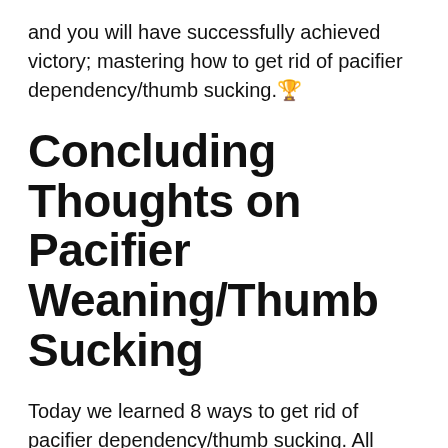and you will have successfully achieved victory; mastering how to get rid of pacifier dependency/thumb sucking. 🏆
Concluding Thoughts on Pacifier Weaning/Thumb Sucking
Today we learned 8 ways to get rid of pacifier dependency/thumb sucking. All toddlers are different so what works best for one, may not work for another. We learned that communicating with your toddler about your views on thumb sucking and creating awareness about the